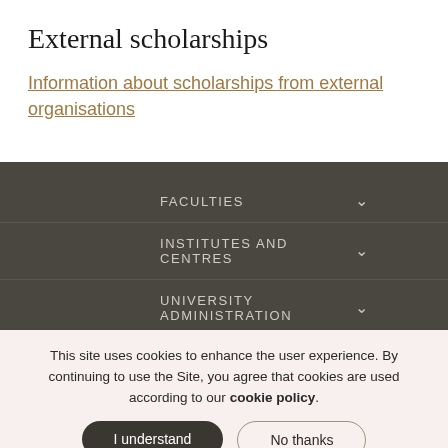External scholarships
Information about scholarships from external organisations
FACULTIES
INSTITUTES AND CENTRES
UNIVERSITY ADMINISTRATION
This site uses cookies to enhance the user experience. By continuing to use the Site, you agree that cookies are used according to our cookie policy.
I understand
No thanks